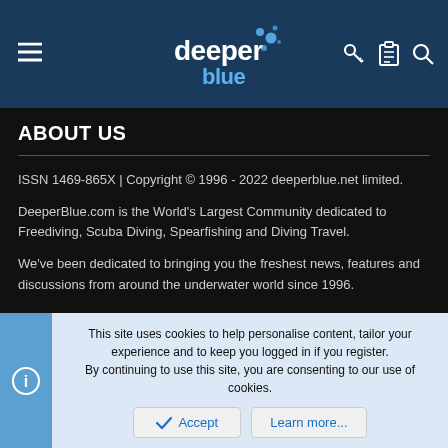DeeperBlue navigation bar with logo, hamburger menu, key, clipboard, and search icons
ABOUT US
ISSN 1469-865X | Copyright © 1996 - 2022 deeperblue.net limited.
DeeperBlue.com is the World's Largest Community dedicated to Freediving, Scuba Diving, Spearfishing and Diving Travel.
We've been dedicated to bringing you the freshest news, features and discussions from around the underwater world since 1996.
ADVERT
This site uses cookies to help personalise content, tailor your experience and to keep you logged in if you register.
By continuing to use this site, you are consenting to our use of cookies.